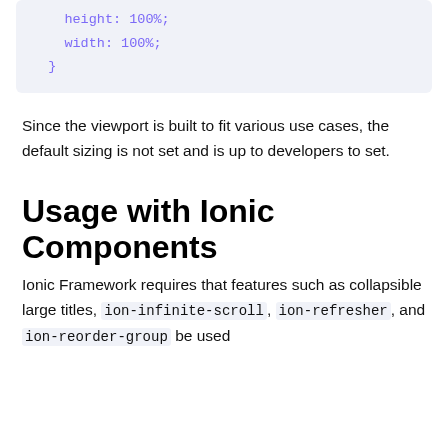height: 100%;
    width: 100%;
}
Since the viewport is built to fit various use cases, the default sizing is not set and is up to developers to set.
Usage with Ionic Components
Ionic Framework requires that features such as collapsible large titles, ion-infinite-scroll, ion-refresher, and ion-reorder-group be used